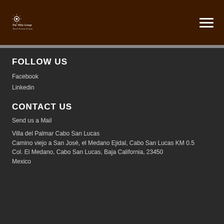[Figure (logo): The Villa Group Beach Resorts & Spas logo on dark brown background header]
FOLLOW US
Facebook
Linkedin
CONTACT US
Send us a Mail
Villa del Palmar Cabo San Lucas
Camino viejo a San José, el Medano Ejidal, Cabo San Lucas KM 0.5
Col. El Medano, Cabo San Lucas, Baja California, 23450
Mexico